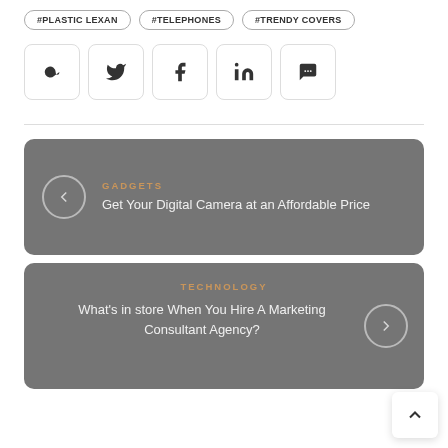#PLASTIC LEXAN
#TELEPHONES
#TRENDY COVERS
[Figure (infographic): Social sharing icon buttons: @, Twitter, Facebook, LinkedIn, Chat]
GADGETS
Get Your Digital Camera at an Affordable Price
TECHNOLOGY
What's in store When You Hire A Marketing Consultant Agency?